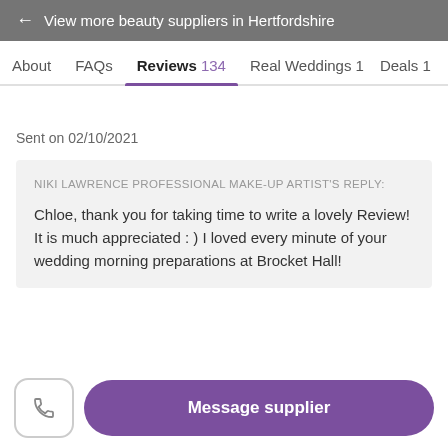← View more beauty suppliers in Hertfordshire
About   FAQs   Reviews 134   Real Weddings 1   Deals 1
Sent on 02/10/2021
NIKI LAWRENCE PROFESSIONAL MAKE-UP ARTIST'S REPLY:
Chloe, thank you for taking time to write a lovely Review! It is much appreciated : ) I loved every minute of your wedding morning preparations at Brocket Hall!
Message supplier